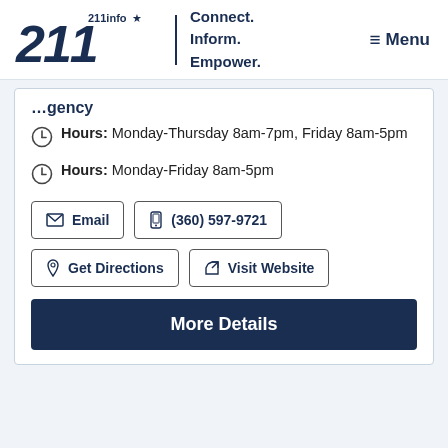[Figure (logo): 211info logo with star and tagline Connect. Inform. Empower.]
≡ Menu
Hours: Monday-Thursday 8am-7pm, Friday 8am-5pm
Hours: Monday-Friday 8am-5pm
Email
(360) 597-9721
Get Directions
Visit Website
More Details